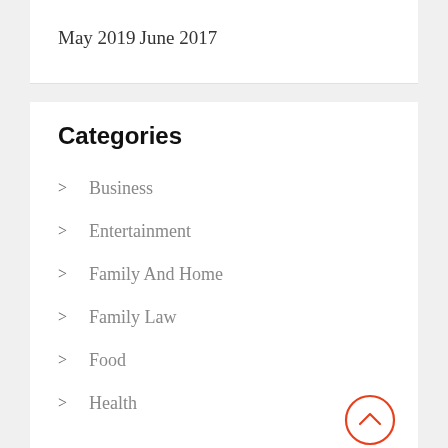May 2019
June 2017
Categories
> Business
> Entertainment
> Family And Home
> Family Law
> Food
> Health